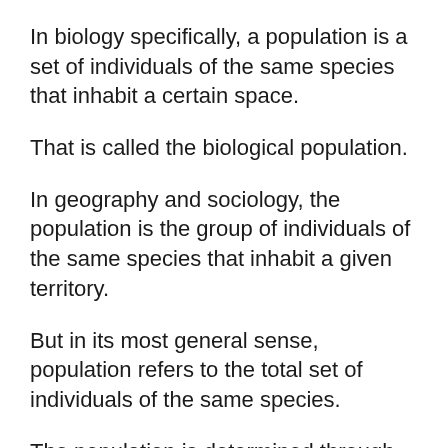In biology specifically, a population is a set of individuals of the same species that inhabit a certain space.
That is called the biological population.
In geography and sociology, the population is the group of individuals of the same species that inhabit a given territory.
But in its most general sense, population refers to the total set of individuals of the same species.
The population is determined through population censuses. That includes the study of inclusions by birth and exclusions by death to establish birth